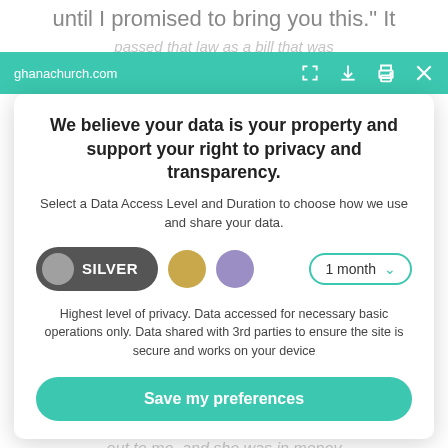until I promised to bring you this.” It
ghanachurch.com
We believe your data is your property and support your right to privacy and transparency.
Select a Data Access Level and Duration to choose how we use and share your data.
[Figure (other): Data access level selector showing SILVER pill toggle (dark gray with silver circle), gold circle option, purple circle option, and a '1 month' duration dropdown with teal border and chevron]
Highest level of privacy. Data accessed for necessary basic operations only. Data shared with 3rd parties to ensure the site is secure and works on your device
Save my preferences
Customize
Privacy policy